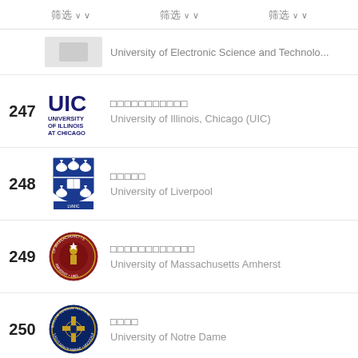筛选  筛选  筛选
University of Electronic Science and Technolo...
247 □□□□□□□□□□□ University of Illinois, Chicago (UIC)
248 □□□□□ University of Liverpool
249 □□□□□□□□□□□□ University of Massachusetts Amherst
250 □□□□ University of Notre Dame